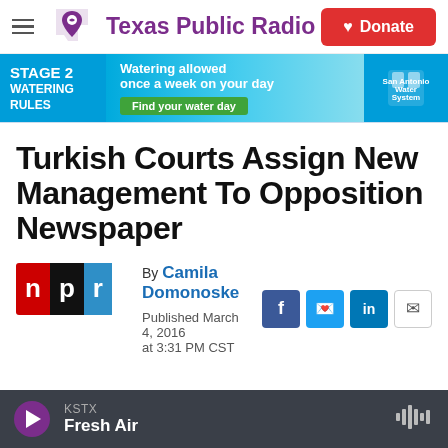Texas Public Radio — Donate
[Figure (infographic): Stage 2 Watering Rules advertisement banner: Watering allowed once a week on your day. Find your water day. San Antonio Water System logo.]
Turkish Courts Assign New Management To Opposition Newspaper
By Camila Domonoske
Published March 4, 2016 at 3:31 PM CST
[Figure (logo): NPR logo (n p r in red, black, blue blocks)]
KSTX Fresh Air